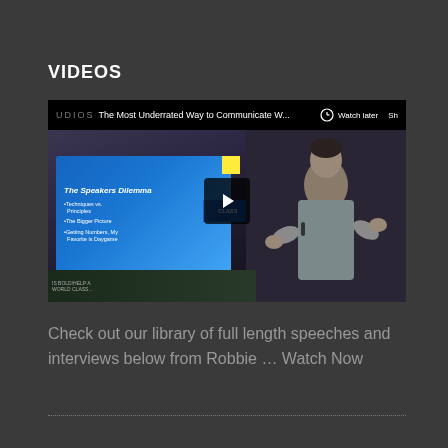VIDEOS
[Figure (screenshot): YouTube video thumbnail showing a man presenting on stage next to a blue slide titled 'The Speakers Dilemma'. The video title reads 'The Most Underrated Way to Communicate W...' with Watch later and Share options visible in the top bar, and a play button in the center.]
Check out our library of full length speeches and interviews below from Robbie … Watch Now